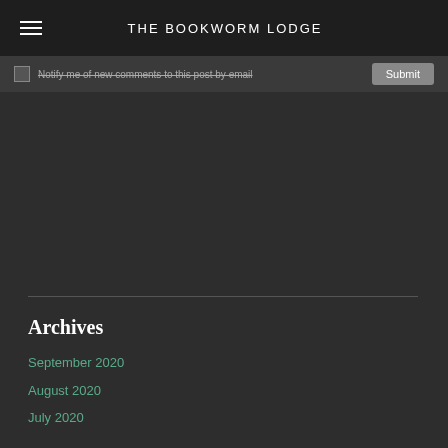THE BOOKWORM LODGE
Notify me of new comments to this post by email
Submit
Archives
September 2020
August 2020
July 2020